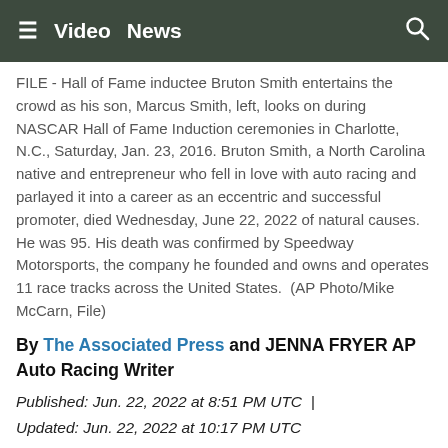≡  Video  News  🔍
FILE - Hall of Fame inductee Bruton Smith entertains the crowd as his son, Marcus Smith, left, looks on during NASCAR Hall of Fame Induction ceremonies in Charlotte, N.C., Saturday, Jan. 23, 2016. Bruton Smith, a North Carolina native and entrepreneur who fell in love with auto racing and parlayed it into a career as an eccentric and successful promoter, died Wednesday, June 22, 2022 of natural causes. He was 95. His death was confirmed by Speedway Motorsports, the company he founded and owns and operates 11 race tracks across the United States.  (AP Photo/Mike McCarn, File)
By The Associated Press and JENNA FRYER AP Auto Racing Writer
Published: Jun. 22, 2022 at 8:51 PM UTC |
Updated: Jun. 22, 2022 at 10:17 PM UTC
[Figure (other): Social share icons: Facebook, Email, Twitter, Pinterest, LinkedIn]
CHARLOTTE, N.C. (AP) — O. Bruton Smith, who emerged from North Carolina farm country and parlayed